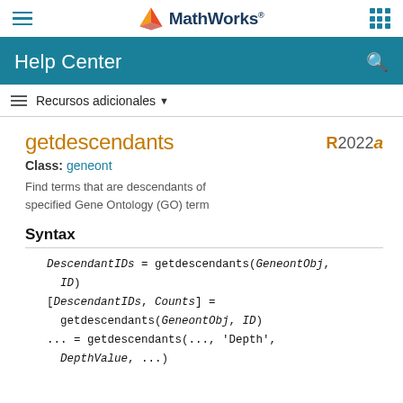MathWorks Help Center
getdescendants
Class: geneont
Find terms that are descendants of specified Gene Ontology (GO) term
Syntax